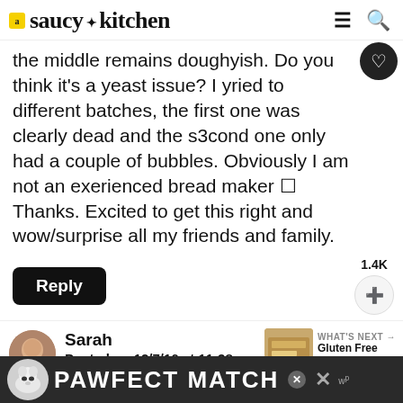saucy kitchen
the middle remains doughyish. Do you think it's a yeast issue? I yried to different batches, the first one was clearly dead and the s3cond one only had a couple of bubbles. Obviously I am not an exerienced bread maker 🙂 Thanks. Excited to get this right and wow/surprise all my friends and family.
Reply
1.4K
Sarah
Posted on 12/7/16 at 11:38 am
Hi Robin! It sounds to me like the
[Figure (infographic): PAWFECT MATCH advertisement banner with dog image]
WHAT'S NEXT → Gluten Free Breadsticks...